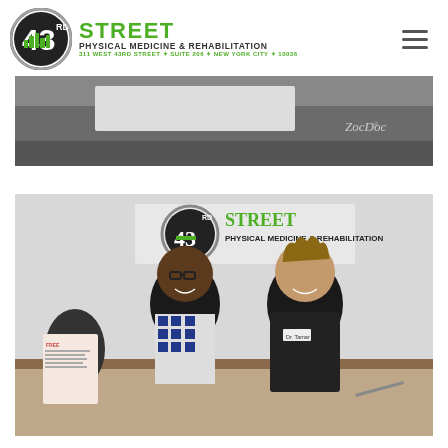[Figure (logo): 43rd Street Physical Medicine & Rehabilitation logo with circular emblem, green street text, and address: 311 West 43rd Street, Suite 206, New York City, 10036]
[Figure (photo): Top photo - partial interior shot of the clinic showing wall with ZocDoc branding]
[Figure (photo): Main photo - two people smiling in front of the 43rd Street Physical Medicine & Rehabilitation wall sign; a woman in a patterned top with glasses and a man in dark medical scrubs with a name badge reading Dr. Tamar]